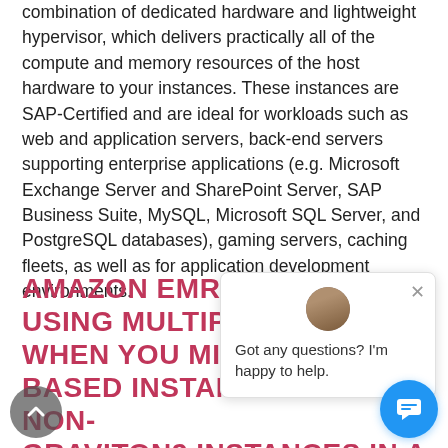combination of dedicated hardware and lightweight hypervisor, which delivers practically all of the compute and memory resources of the host hardware to your instances. These instances are SAP-Certified and are ideal for workloads such as web and application servers, back-end servers supporting enterprise applications (e.g. Microsoft Exchange Server and SharePoint Server, SAP Business Suite, MySQL, Microsoft SQL Server, and PostgreSQL databases), gaming servers, caching fleets, as well as for application development environments.
AMAZON EMR NOW SUPPORTS USING MULTIPLE INSTANCE TYPES WHEN YOU MIX GRAVITON2-BASED INSTANCES WITH NON-GRAVITON2 INSTANCES IN A SINGLE EMR CLUSTER